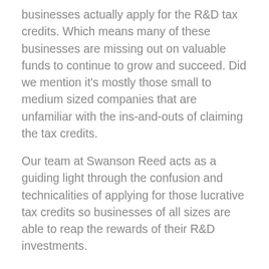businesses actually apply for the R&D tax credits. Which means many of these businesses are missing out on valuable funds to continue to grow and succeed. Did we mention it's mostly those small to medium sized companies that are unfamiliar with the ins-and-outs of claiming the tax credits.
Our team at Swanson Reed acts as a guiding light through the confusion and technicalities of applying for those lucrative tax credits so businesses of all sizes are able to reap the rewards of their R&D investments.
To shed a little bit more light here are the top five (5) tips to help your Florida business thrive and squeeze out every last tax dollar they deserve.
Don't overlook your business' activity: Most people associate R&D with mad professors in lab coats